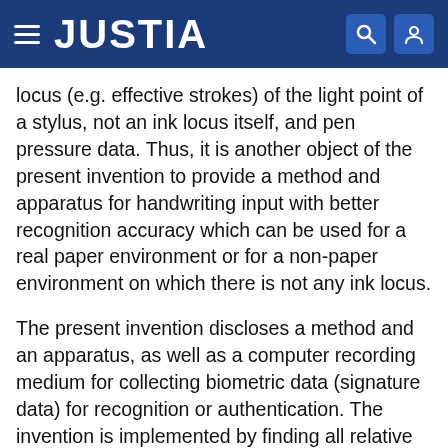JUSTIA
locus (e.g. effective strokes) of the light point of a stylus, not an ink locus itself, and pen pressure data. Thus, it is another object of the present invention to provide a method and apparatus for handwriting input with better recognition accuracy which can be used for a real paper environment or for a non-paper environment on which there is not any ink locus.
The present invention discloses a method and an apparatus, as well as a computer recording medium for collecting biometric data (signature data) for recognition or authentication. The invention is implemented by finding all relative positions among all light points of light sources when all light sources mounted on a stylus are turned ON; capturing an image including effective strokes and digital data of pen pressure with a digital camera, when a user writes on a writing surface with a